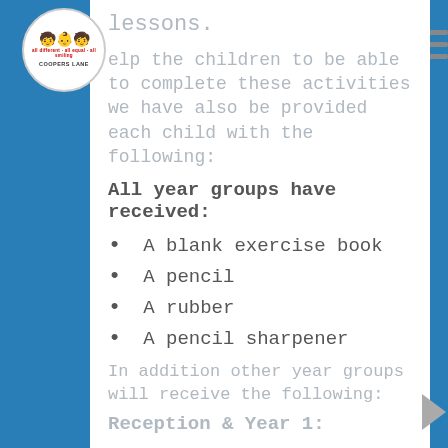[Figure (logo): Coopers Lane school logo — circular badge with children figures and text 'all different, all equal, all smiling, COOPERS LANE']
lessons.
help the children to be able to complete these activities we have also be provided each child with the following:
All year groups have received:
A blank exercise book
A pencil
A rubber
A pencil sharpener
In addition other year groups will receive the following:
Reception & Year 1: